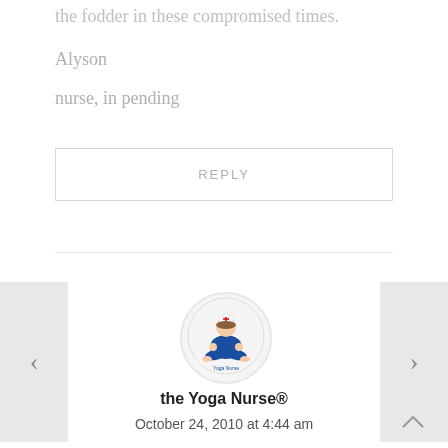the fodder in these compromised times.
Alyson
nurse, in pending
REPLY
[Figure (illustration): Circular avatar icon showing a cartoon yoga nurse figure in a meditation pose with a nurse cap, blue clothing, sitting cross-legged on a mat. Text around the bottom reads 'Yoga Nurse'.]
the Yoga Nurse®
October 24, 2010 at 4:44 am
Alyson, Glad you took the time to